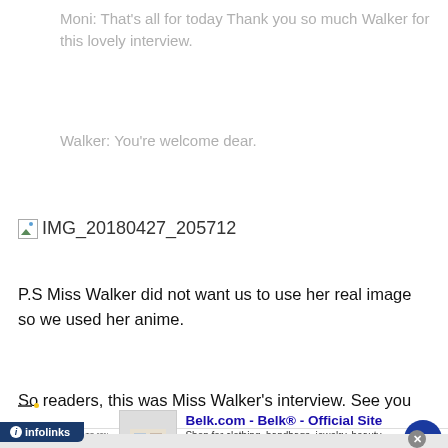Moni: That's all for today Thank you so much Walker for this lovely interview.
Walker: You're welcome dear.
[Figure (other): Broken image placeholder labeled IMG_20180427_205712]
P.S Miss Walker did not want us to use her real image so we used her anime.
So readers, this was Miss Walker's interview. See you
[Figure (screenshot): Infolinks advertisement banner for Belk.com - Belk Official Site. Shows ad with text: Shop for clothing, handbags, jewelry, beauty, home & more! www.belk.com]